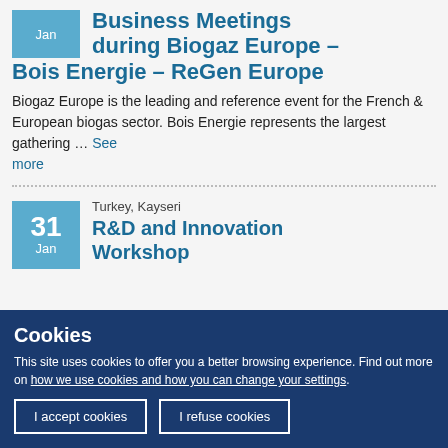Business Meetings during Biogaz Europe – Bois Energie – ReGen Europe
Biogaz Europe is the leading and reference event for the French & European biogas sector. Bois Energie represents the largest gathering … See more
R&D and Innovation Workshop
Turkey, Kayseri
Cookies
This site uses cookies to offer you a better browsing experience. Find out more on how we use cookies and how you can change your settings.
I accept cookies
I refuse cookies